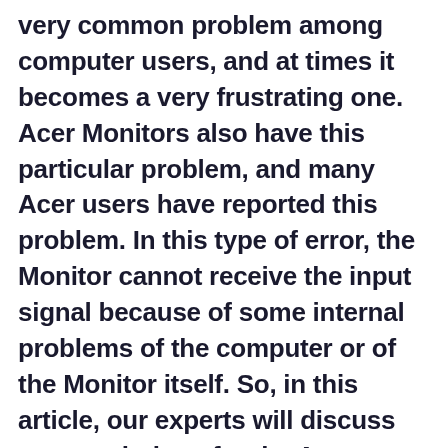very common problem among computer users, and at times it becomes a very frustrating one. Acer Monitors also have this particular problem, and many Acer users have reported this problem. In this type of error, the Monitor cannot receive the input signal because of some internal problems of the computer or of the Monitor itself. So, in this article, our experts will discuss some solutions for the Acer Monitor No Signal error.